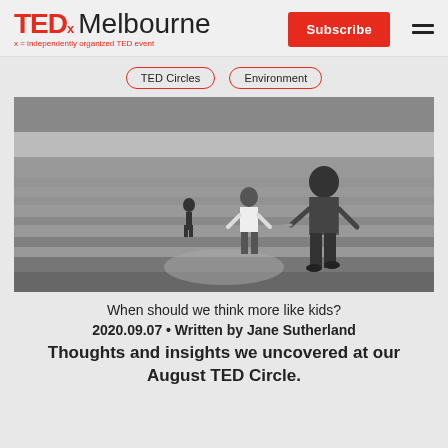TEDx Melbourne | Subscribe
TED Circles
Environment
[Figure (photo): Black and white photo of three children running through a grass field, viewed from behind. The largest child is in the foreground, a medium child in the middle, and a smaller child in the distance.]
When should we think more like kids?
2020.09.07 • Written by Jane Sutherland
Thoughts and insights we uncovered at our August TED Circle.